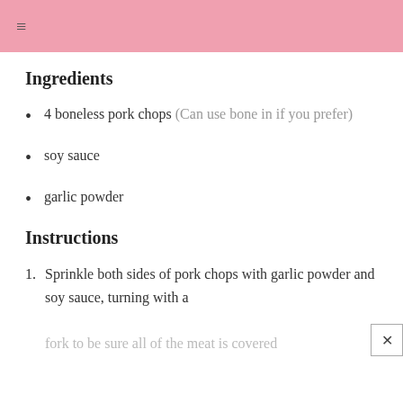≡
Ingredients
4 boneless pork chops (Can use bone in if you prefer)
soy sauce
garlic powder
Instructions
Sprinkle both sides of pork chops with garlic powder and soy sauce, turning with a fork to be sure all of the meat is covered